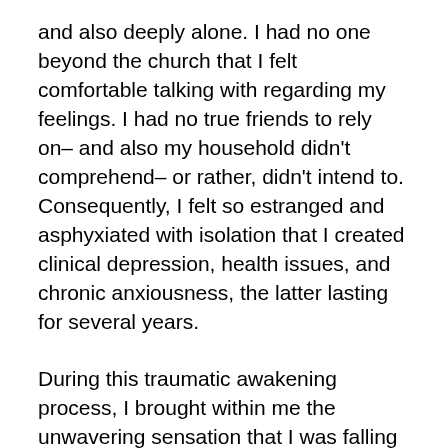and also deeply alone. I had no one beyond the church that I felt comfortable talking with regarding my feelings. I had no true friends to rely on– and also my household didn't comprehend– or rather, didn't intend to. Consequently, I felt so estranged and asphyxiated with isolation that I created clinical depression, health issues, and chronic anxiousness, the latter lasting for several years.
During this traumatic awakening process, I brought within me the unwavering sensation that I was falling endlessly through a void of darkness. I checked out the web for any kind of sign that can help me navigate this complex time.